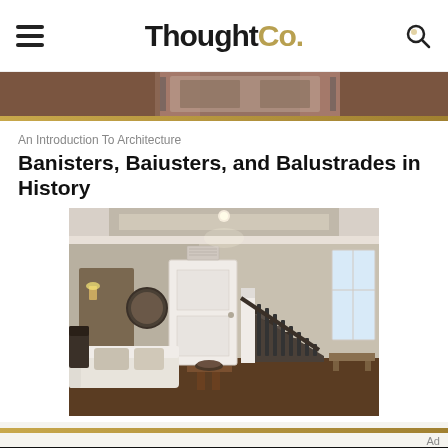ThoughtCo.
[Figure (photo): Partial view of a building exterior with brick, cropped at top of page]
An Introduction To Architecture
Banisters, Baiusters, and Balustrades in History
[Figure (photo): Interior photo of a home showing a staircase with white balusters and dark treads, a sofa, side table, and front door]
Ad
[Figure (other): Dotdash Meredith advertisement: 'We help people find answers, solve problems and get inspired.' with Dotdash Meredith logo]